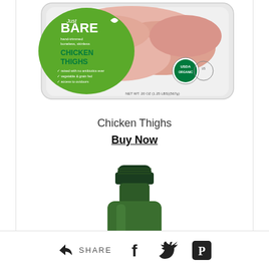[Figure (photo): Just Bare brand organic chicken thighs product package with green label, showing boneless skinless chicken thighs, USDA Organic seal, NET WT. 20 OZ (1.25 LBS)(567g)]
Chicken Thighs
Buy Now
[Figure (photo): Top portion of a dark green glass bottle with green cap, partially visible]
SHARE  [share icon] [facebook icon] [twitter icon] [pinterest icon]